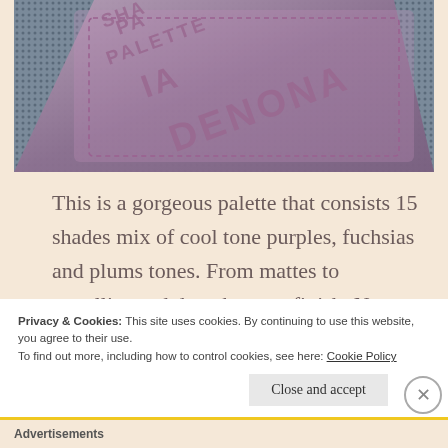[Figure (photo): Close-up photo of a pink/mauve leather palette case with embossed text reading 'SHAFIA DENONA PALETTE']
This is a gorgeous palette that consists 15 shades mix of cool tone purples, fuchsias and plums tones. From mattes to metallics and duo chromes finish. Note that this palette is pricey. However the textures of the shadows are very creamy and
Privacy & Cookies: This site uses cookies. By continuing to use this website, you agree to their use.
To find out more, including how to control cookies, see here: Cookie Policy
Close and accept
Advertisements